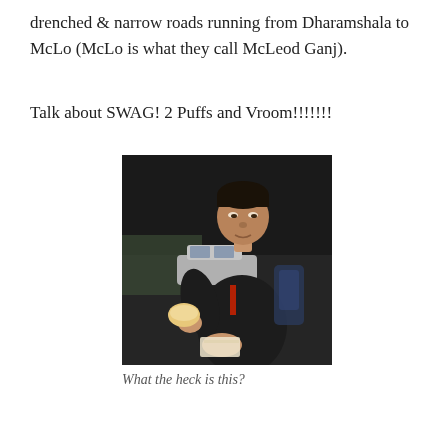drenched & narrow roads running from Dharamshala to McLo (McLo is what they call McLeod Ganj).
Talk about SWAG! 2 Puffs and Vroom!!!!!!!
[Figure (photo): A young man eating a puff/bread snack outdoors at night, wearing a dark jacket with red detail, holding food in both hands. A car and dark background visible behind him.]
What the heck is this?